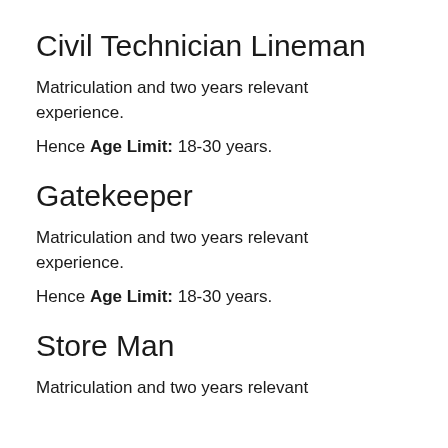Civil Technician Lineman
Matriculation and two years relevant experience.
Hence Age Limit: 18-30 years.
Gatekeeper
Matriculation and two years relevant experience.
Hence Age Limit: 18-30 years.
Store Man
Matriculation and two years relevant